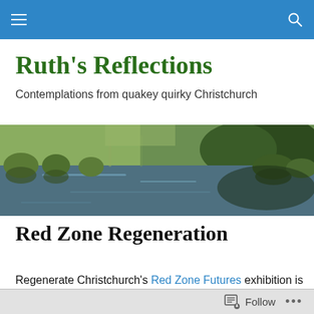Ruth's Reflections — navigation bar
Ruth's Reflections
Contemplations from quakey quirky Christchurch
[Figure (photo): A reflective pond with native grasses and trees along the bank, photographed in a park-like setting. The water mirrors the green vegetation above.]
Red Zone Regeneration
Regenerate Christchurch's Red Zone Futures exhibition is
Follow